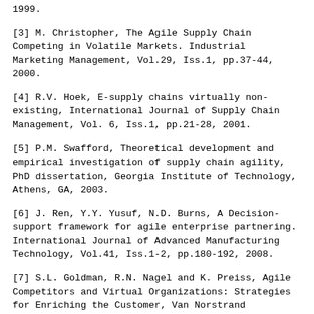1999.
[3] M. Christopher, The Agile Supply Chain Competing in Volatile Markets. Industrial Marketing Management, Vol.29, Iss.1, pp.37-44, 2000.
[4] R.V. Hoek, E-supply chains virtually non-existing, International Journal of Supply Chain Management, Vol. 6, Iss.1, pp.21-28, 2001.
[5] P.M. Swafford, Theoretical development and empirical investigation of supply chain agility, PhD dissertation, Georgia Institute of Technology, Athens, GA, 2003.
[6] J. Ren, Y.Y. Yusuf, N.D. Burns, A Decision-support framework for agile enterprise partnering. International Journal of Advanced Manufacturing Technology, Vol.41, Iss.1-2, pp.180-192, 2008.
[7] S.L. Goldman, R.N. Nagel and K. Preiss, Agile Competitors and Virtual Organizations: Strategies for Enriching the Customer, Van Norstrand Reinhold, New York, NY, 1994.
[8] Manisra Baramichai Jr., E.W.Zimmers, Jr., & C.